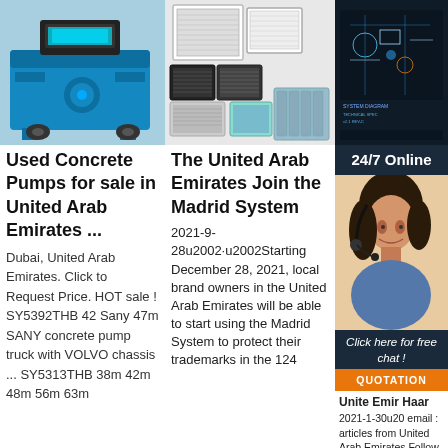[Figure (photo): Photo of a blue CNC/concrete pump machine]
[Figure (photo): Photo of various HEPA air filter panels]
[Figure (photo): Photo of a scientific lab/engineering setup on dark background]
24/7 Online
[Figure (photo): Photo of a female customer service agent with headset, smiling]
Click here for free chat !
QUOTATION
Used Concrete Pumps for sale in United Arab Emirates ...
Dubai, United Arab Emirates. Click to Request Price. HOT sale ! SY5392THB 42 Sany 47m SANY concrete pump truck with VOLVO chassis ... SY5313THB 38m 42m 48m 56m 63m
The United Arab Emirates Join the Madrid System
2021-9-28u2002·u2002Starting December 28, 2021, local brand owners in the United Arab Emirates will be able to start using the Madrid System to protect their trademarks in the 124
Unite Emir Haar
2021-1- 30u20 email : articles from United Arab Emirates Follow. Description. Israeli Pipeline Company Director Defends Signing of